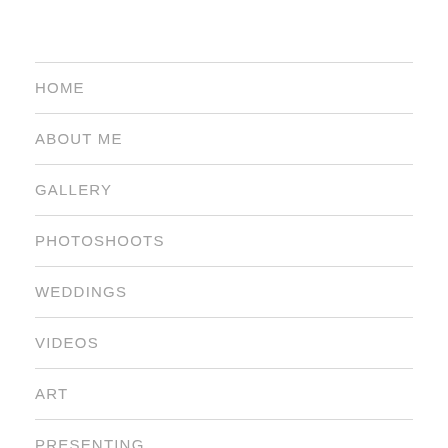HOME
ABOUT ME
GALLERY
PHOTOSHOOTS
WEDDINGS
VIDEOS
ART
PRESENTING